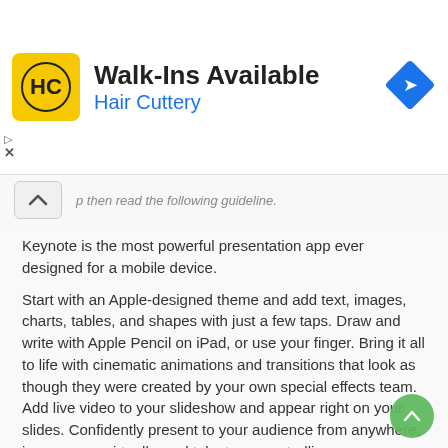[Figure (screenshot): Advertisement banner for Hair Cuttery salon. Shows HC logo in yellow square, 'Walk-Ins Available' headline, 'Hair Cuttery' in blue, and a blue diamond navigation icon on the right.]
...p then read the following guideline.
Keynote is the most powerful presentation app ever designed for a mobile device.
Start with an Apple-designed theme and add text, images, charts, tables, and shapes with just a few taps. Draw and write with Apple Pencil on iPad, or use your finger. Bring it all to life with cinematic animations and transitions that look as though they were created by your own special effects team. Add live video to your slideshow and appear right on your slides. Confidently present to your audience from anywhere, in person or virtually, and take turns controlling a presentation in multi-presenter slideshows.
Collaborate with others at the same time
• With real-time collaboration, your whole team can work